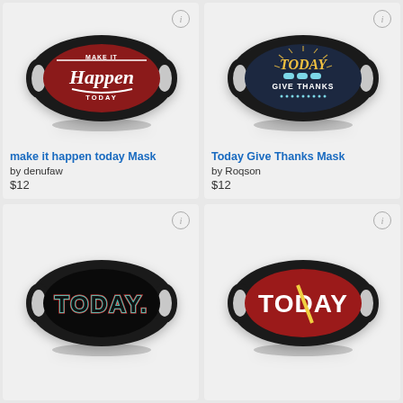[Figure (photo): Face mask with red background and white script text reading 'Make It Happen Today']
make it happen today Mask
by denufaw
$12
[Figure (photo): Face mask with dark navy background, yellow 'TODAY' text and 'GIVE THANKS' with teal cloud icons]
Today Give Thanks Mask
by Roqson
$12
[Figure (photo): Face mask with black background and teal/red outlined text reading 'TODAY.']
[Figure (photo): Face mask with red background and white bold text reading 'TODAY' with a yellow diagonal slash]